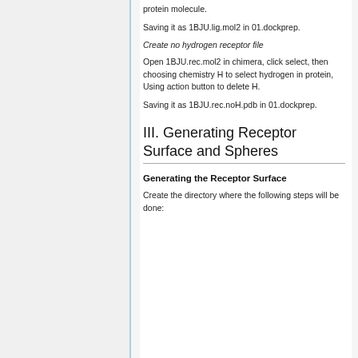protein molecule.
Saving it as 1BJU.lig.mol2 in 01.dockprep.
Create no hydrogen receptor file
Open 1BJU.rec.mol2 in chimera, click select, then choosing chemistry H to select hydrogen in protein, Using action button to delete H.
Saving it as 1BJU.rec.noH.pdb in 01.dockprep.
III. Generating Receptor Surface and Spheres
Generating the Receptor Surface
Create the directory where the following steps will be done: